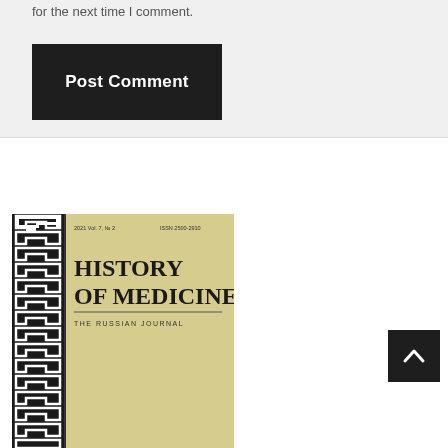for the next time I comment.
Post Comment
[Figure (photo): Cover of 'History of Medicine: The Russian Journal', 2021, Vol. 7, No. 2, ISSN 2500-2910. Features a Greek meander border pattern on the left side with a parchment-colored background.]
[Figure (other): Back to top arrow button (dark square with upward chevron)]